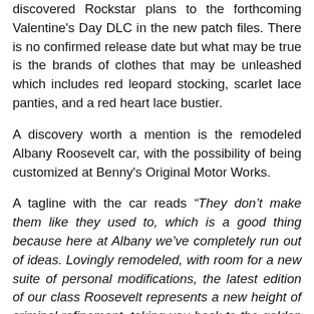discovered Rockstar plans to the forthcoming Valentine's Day DLC in the new patch files. There is no confirmed release date but what may be true is the brands of clothes that may be unleashed which includes red leopard stocking, scarlet lace panties, and a red heart lace bustier.
A discovery worth a mention is the remodeled Albany Roosevelt car, with the possibility of being customized at Benny's Original Motor Works.
A tagline with the car reads “They don’t make them like they used to, which is a good thing because here at Albany we’ve completely run out of ideas. Lovingly remodeled, with room for a new suite of personal modifications, the latest edition of our class Roosevelt represents a new height of criminal refinement, taking you back to the golden age of fraud, racketeering, and murder when all you had to worry about were a few charges of tax evasion.”